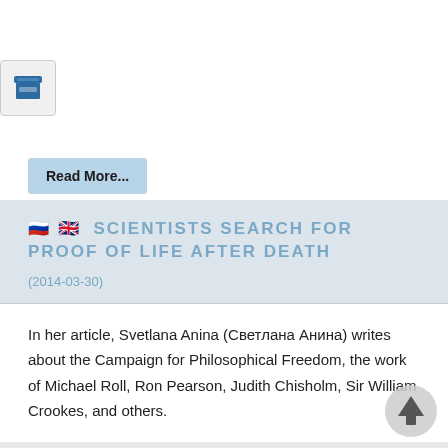[Figure (other): Archive/box icon in a rounded rectangle button]
Read More...
SCIENTISTS SEARCH FOR PROOF OF LIFE AFTER DEATH
(2014-03-30)
In her article, Svetlana Anina (Светлана Анина) writes about the Campaign for Philosophical Freedom, the work of Michael Roll, Ron Pearson, Judith Chisholm, Sir William Crookes, and others.
[Figure (illustration): Circular scroll-to-top arrow button overlay]